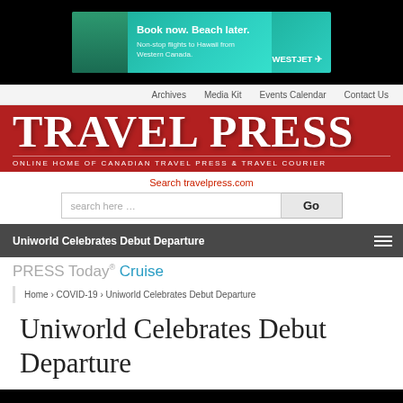[Figure (other): WestJet advertisement banner: 'Book now. Beach later. Non-stop flights to Hawaii from Western Canada.' with beach/palm tree image and WestJet logo.]
Archives   Media Kit   Events Calendar   Contact Us
TRAVEL PRESS
ONLINE HOME OF CANADIAN TRAVEL PRESS & TRAVEL COURIER
Search travelpress.com
Uniworld Celebrates Debut Departure
PRESS Today® Cruise
Home › COVID-19 › Uniworld Celebrates Debut Departure
Uniworld Celebrates Debut Departure